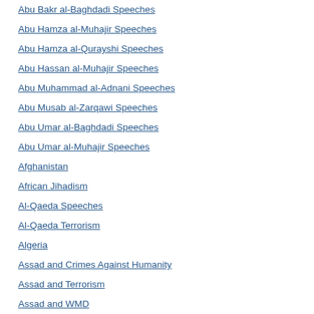Abu Bakr al-Baghdadi Speeches
Abu Hamza al-Muhajir Speeches
Abu Hamza al-Qurayshi Speeches
Abu Hassan al-Muhajir Speeches
Abu Muhammad al-Adnani Speeches
Abu Musab al-Zarqawi Speeches
Abu Umar al-Baghdadi Speeches
Abu Umar al-Muhajir Speeches
Afghanistan
African Jihadism
Al-Qaeda Speeches
Al-Qaeda Terrorism
Algeria
Assad and Crimes Against Humanity
Assad and Terrorism
Assad and WMD
Book Review
Bosnia
British Domestic Terrorism